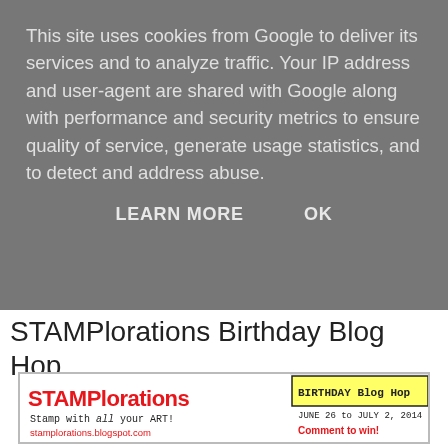This site uses cookies from Google to deliver its services and to analyze traffic. Your IP address and user-agent are shared with Google along with performance and security metrics to ensure quality of service, generate usage statistics, and to detect and address abuse.
LEARN MORE   OK
STAMPlorations Birthday Blog Hop
[Figure (illustration): STAMPlorations Birthday Blog Hop promotional banner showing stamp products with cupcake, gift box, birthday cake, and text stamps. Header reads 'STAMPlorations - Stamp with all your ART! stamplorations.blogspot.com' and 'BIRTHDAY Blog Hop JUNE 26 to JULY 2, 2014 Comment to win!']